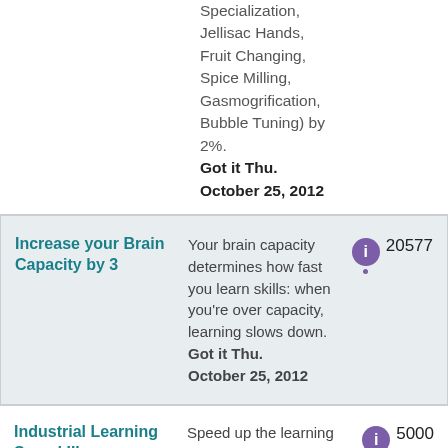Specialization, Jellisac Hands, Fruit Changing, Spice Milling, Gasmogrification, Bubble Tuning) by 2%. Got it Thu. October 25, 2012
Increase your Brain Capacity by 3 — Your brain capacity determines how fast you learn skills: when you're over capacity, learning slows down. Got it Thu. October 25, 2012 — 20577
Industrial Learning Speed III — Speed up the learning times for Industrial skills (Mining, Refining, ... — 5000